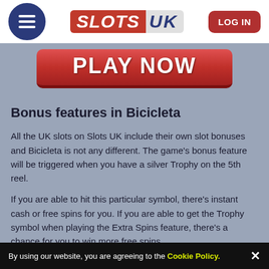[Figure (logo): SlotsUK website header with hamburger menu icon, SLOTS UK logo, and LOG IN button]
[Figure (infographic): Red PLAY NOW button on grey-blue background]
Bonus features in Bicicleta
All the UK slots on Slots UK include their own slot bonuses and Bicicleta is not any different. The game's bonus feature will be triggered when you have a silver Trophy on the 5th reel.
If you are able to hit this particular symbol, there's instant cash or free spins for you. If you are able to get the Trophy symbol when playing the Extra Spins feature, there's a chance for you to win more free spins.
By using our website, you are agreeing to the Cookie Policy.